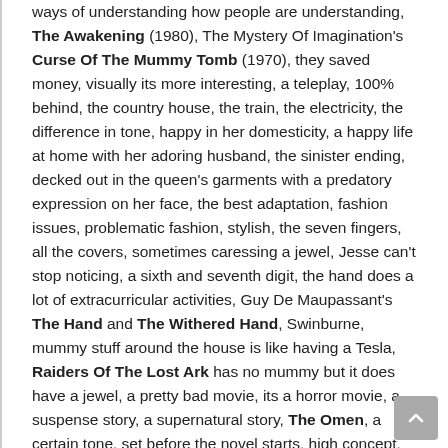ways of understanding how people are understanding, The Awakening (1980), The Mystery Of Imagination's Curse Of The Mummy Tomb (1970), they saved money, visually its more interesting, a teleplay, 100% behind, the country house, the train, the electricity, the difference in tone, happy in her domesticity, a happy life at home with her adoring husband, the sinister ending, decked out in the queen's garments with a predatory expression on her face, the best adaptation, fashion issues, problematic fashion, stylish, the seven fingers, all the covers, sometimes caressing a jewel, Jesse can't stop noticing, a sixth and seventh digit, the hand does a lot of extracurricular activities, Guy De Maupassant's The Hand and The Withered Hand, Swinburne, mummy stuff around the house is like having a Tesla, Raiders Of The Lost Ark has no mummy but it does have a jewel, a pretty bad movie, its a horror movie, a suspense story, a supernatural story, The Omen, a certain tone, set before the novel starts, high concept, the adaptation (that breaks out), The M...